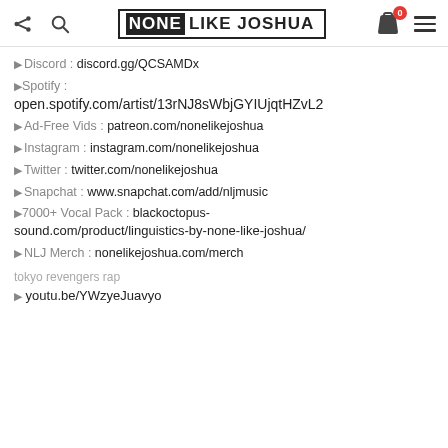None Like Joshua — header with share, search, logo, cart, menu
► Discord : discord.gg/QCSAMDx
► Spotify : open.spotify.com/artist/13rNJ8sWbjGYIUjqtHZvL2
► Ad-Free Vids : patreon.com/nonelikejoshua
► Instagram : instagram.com/nonelikejoshua
► Twitter : twitter.com/nonelikejoshua
► Snapchat : www.snapchat.com/add/nljmusic
► 7000+ Vocal Pack : blackoctopus-sound.com/product/linguistics-by-none-like-joshua/
► NLJ Merch : nonelikejoshua.com/merch
tokyo revengers rap
► youtu.be/YWzyeJuavyo